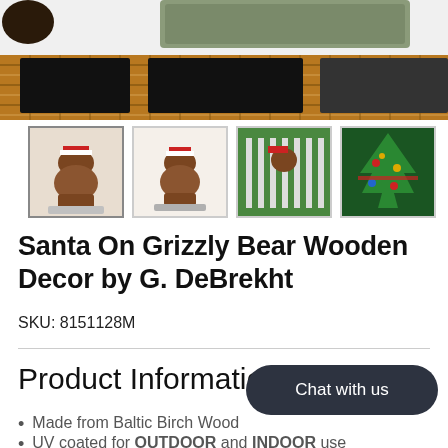[Figure (photo): Main product image area showing wicker/basket shelving unit with dark square openings, and a decorative wall piece at top. Below are thumbnail images of Santa on Grizzly Bear wooden decor product from multiple angles.]
Santa On Grizzly Bear Wooden Decor by G. DeBrekht
SKU: 8151128M
Product Information:
Made from Baltic Birch Wood
UV coated for OUTDOOR and INDOOR use